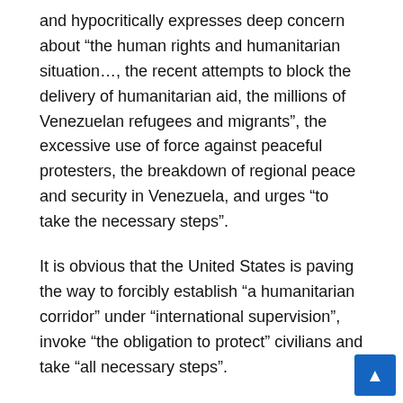and hypocritically expresses deep concern about “the human rights and humanitarian situation…, the recent attempts to block the delivery of humanitarian aid, the millions of Venezuelan refugees and migrants”, the excessive use of force against peaceful protesters, the breakdown of regional peace and security in Venezuela, and urges “to take the necessary steps”.
It is obvious that the United States is paving the way to forcibly establish “a humanitarian corridor” under “international supervision”, invoke “the obligation to protect” civilians and take “all necessary steps”.
It is worth recalling that similar behaviors and pretexts were resorted to by the U.S. during the prelude to the wars it launched against Yugoslavia, Iraq and Libya, which resulted in tremendous human losses and caused enormous